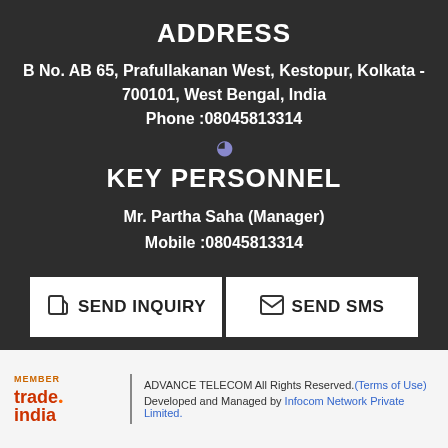ADDRESS
B No. AB 65, Prafullakanan West, Kestopur, Kolkata - 700101, West Bengal, India
Phone :08045813314
KEY PERSONNEL
Mr. Partha Saha (Manager)
Mobile :08045813314
SEND INQUIRY   SEND SMS
ADVANCE TELECOM All Rights Reserved.(Terms of Use)
Developed and Managed by Infocom Network Private Limited.